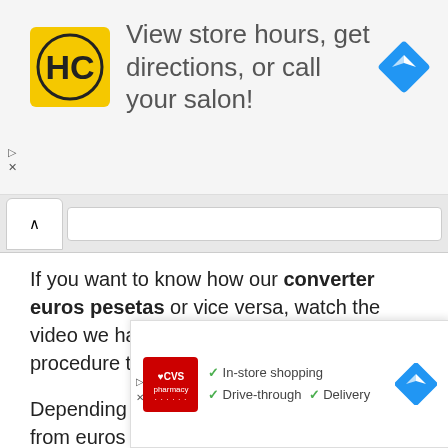[Figure (infographic): Advertisement banner: HC salon logo (yellow square with HC text), text 'View store hours, get directions, or call your salon!', blue navigation diamond icon. Ad controls (play and X buttons) on left side.]
[Figure (screenshot): Browser tab bar with up-arrow tab button and search/address bar]
If you want to know how our converter euros pesetas or vice versa, watch the video we have recorded explaining the procedure to follow.
Depending on whether you want to switch from euros to pesetas or convert pesetas to euros, tienes que seleccionar la conversión pertinente en nuestro conversor. Tras pulsar en el el me...cerán amba...
[Figure (infographic): Advertisement overlay: CVS Pharmacy logo (red square), features listing In-store shopping, Drive-through, Delivery with green checkmarks, blue navigation diamond icon. Ad controls on left.]